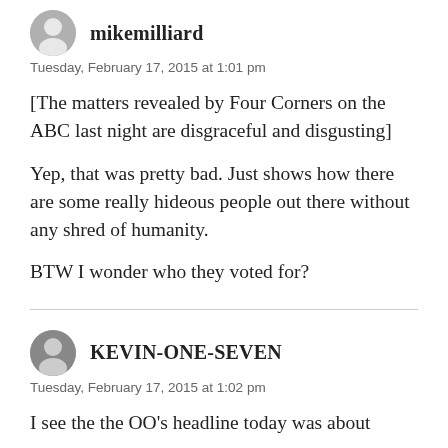mikemilliard
Tuesday, February 17, 2015 at 1:01 pm
[The matters revealed by Four Corners on the ABC last night are disgraceful and disgusting]
Yep, that was pretty bad. Just shows how there are some really hideous people out there without any shred of humanity.
BTW I wonder who they voted for?
KEVIN-ONE-SEVEN
Tuesday, February 17, 2015 at 1:02 pm
I see the the OO's headline today was about